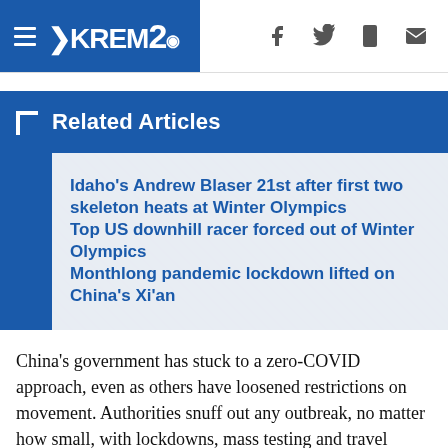KREM2 News Header
Related Articles
Idaho's Andrew Blaser 21st after first two skeleton heats at Winter Olympics
Top US downhill racer forced out of Winter Olympics
Monthlong pandemic lockdown lifted on China's Xi'an
China's government has stuck to a zero-COVID approach, even as others have loosened restrictions on movement. Authorities snuff out any outbreak, no matter how small, with lockdowns, mass testing and travel restrictions. The